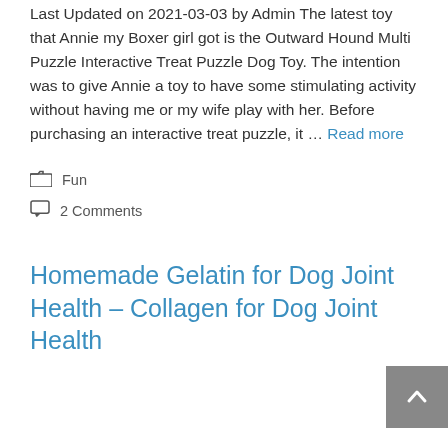Last Updated on 2021-03-03 by Admin The latest toy that Annie my Boxer girl got is the Outward Hound Multi Puzzle Interactive Treat Puzzle Dog Toy. The intention was to give Annie a toy to have some stimulating activity without having me or my wife play with her. Before purchasing an interactive treat puzzle, it … Read more
Fun
2 Comments
Homemade Gelatin for Dog Joint Health – Collagen for Dog Joint Health